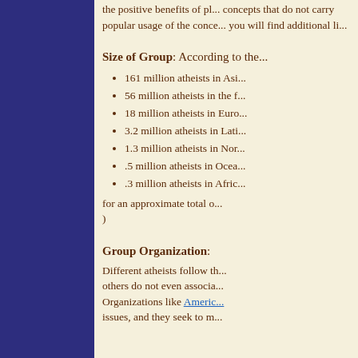the positive benefits of pl... concepts that do not carry... popular usage of the conce... you will find additional li...
Size of Group: According to the...
161 million atheists in Asi...
56 million atheists in the f...
18 million atheists in Euro...
3.2 million atheists in Lati...
1.3 million atheists in Nor...
.5 million atheists in Ocea...
.3 million atheists in Afric...
for an approximate total o... )
Group Organization:
Different atheists follow th... others do not even associa... Organizations like Americ... issues, and they seek to m...